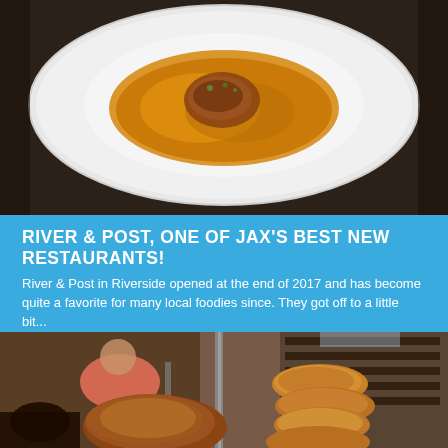[Figure (photo): Top-down view of a white ceramic bowl containing a golden/orange broth-based dish with a piece of food in the center, on a dark wooden table surface.]
RIVER & POST, ONE OF JAX'S BEST NEW RESTAURANTS!
River & Post in Riverside opened at the end of 2017 and has become quite a favorite for many local foodies since. They got off to a little bit...
[Figure (photo): Close-up photo of grilled/roasted meat skewers including sausages and a large piece of meat on a skewer/rod, with a restaurant interior and people visible in the background.]